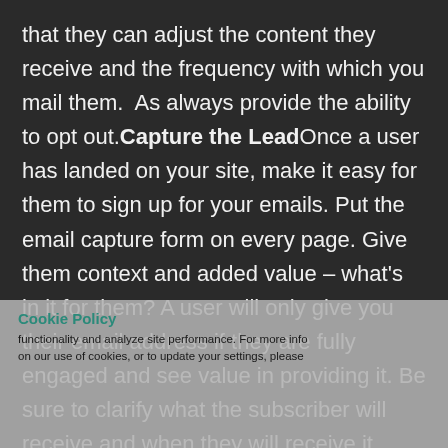that they can adjust the content they receive and the frequency with which you mail them. As always provide the ability to opt out.Capture the LeadOnce a user has landed on your site, make it easy for them to sign up for your emails. Put the email capture form on every page. Give them context and added value – what's in it for them? A user will only give you their email address if they are fully engaged and see value in providing it. Be sure to clarify what the subscriber will receive and when they will receive it when they sign up (right now, later today, next week, etc.). And keep your subscription forms short. TIP: Keep sign ups simple and easy. It's understandable that you want to weed out spambots and get to know your readers as much as possible, but don't make them fill out 10 pages of
Cookie Policy
functionality and analyze site performance. For more info on our use of cookies, or to update your settings, please